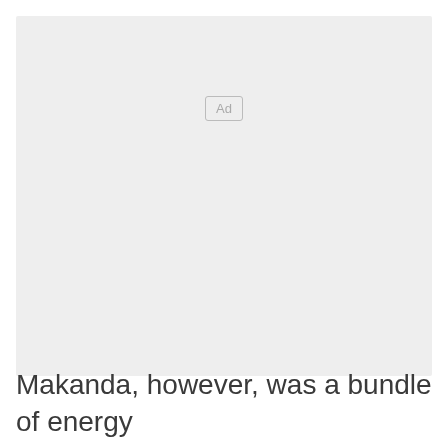[Figure (other): Advertisement placeholder box with 'Ad' label in center-top area]
Makanda, however, was a bundle of energy